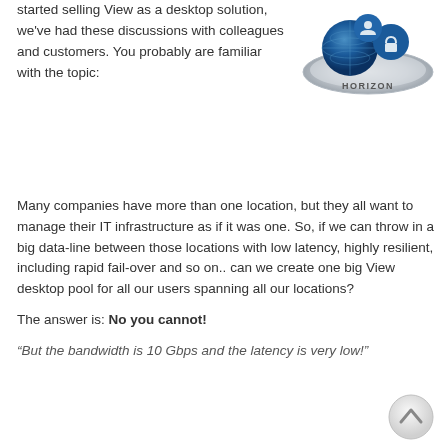[Figure (logo): Horizon product logo — a circular silver platform with blue network/globe icons and the text HORIZON]
started selling View as a desktop solution, we've had these discussions with colleagues and customers. You probably are familiar with the topic:
Many companies have more than one location, but they all want to manage their IT infrastructure as if it was one. So, if we can throw in a big data-line between those locations with low latency, highly resilient, including rapid fail-over and so on.. can we create one big View desktop pool for all our users spanning all our locations?
The answer is: No you cannot!
“But the bandwidth is 10 Gbps and the latency is very low!”